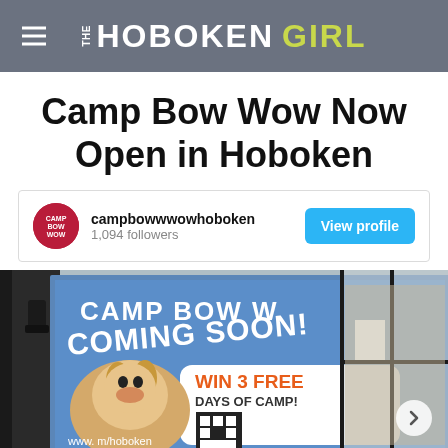THE HOBOKEN GIRL
Camp Bow Wow Now Open in Hoboken
[Figure (screenshot): Instagram profile card for campbowwwowhoboken with 1,094 followers and a 'View profile' button]
[Figure (photo): Storefront with a blue sign reading 'CAMP BOW WOW - COMING SOON! WIN 3 FREE DAYS OF CAMP! www...m/hoboken' with a QR code and a dog photo, next to glass doors]